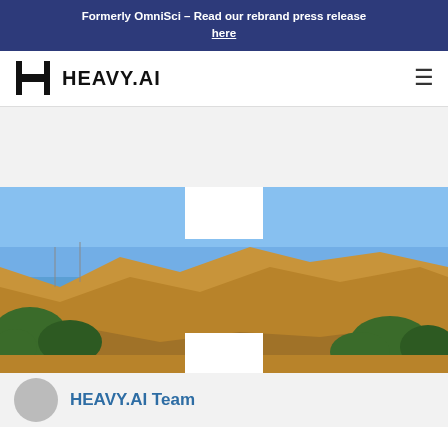Formerly OmniSci – Read our rebrand press release here
[Figure (logo): HEAVY.AI logo with stylized H icon and HEAVY.AI wordmark]
[Figure (photo): Landscape photo of a golden dry hillside with green trees and blue sky, showing white overlay rectangles on the image]
HEAVY.AI Team